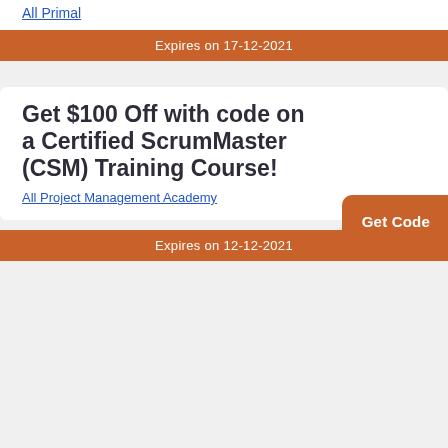All Primal
Expires on 17-12-2021
Get $100 Off with code on a Certified ScrumMaster (CSM) Training Course!
All Project Management Academy
Get Code
Expires on 12-12-2021